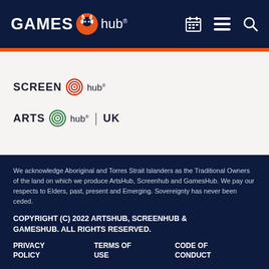GAMES hub®
[Figure (logo): ScreenHub logo with circular target icon]
[Figure (logo): ArtsHub UK logo with circular wave icon]
We acknowledge Aboriginal and Torres Strait Islanders as the Traditional Owners of the land on which we produce ArtsHub, Screenhub and GamesHub. We pay our respects to Elders, past, present and Emerging. Sovereignty has never been ceded.
COPYRIGHT (C) 2022 ARTSHUB, SCREENHUB & GAMESHUB. ALL RIGHTS RESERVED.
PRIVACY POLICY   TERMS OF USE   CODE OF CONDUCT